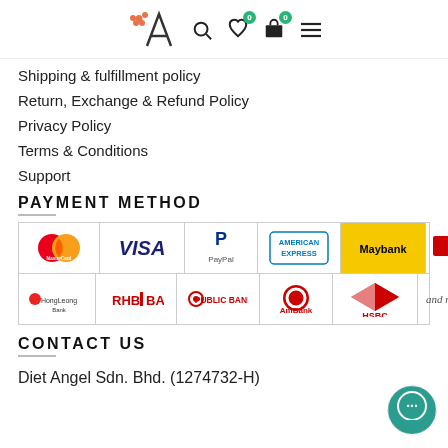Logo and navigation icons
Shipping & fulfillment policy
Return, Exchange & Refund Policy
Privacy Policy
Terms & Conditions
Support
PAYMENT METHOD
[Figure (logo): Payment method logos: MasterCard, VISA, PayPal, American Express, Maybank, CIMB, Hong Leong Bank, RHB Bank, Public Bank, AmBank, HSBC, and more...]
CONTACT US
Diet Angel Sdn. Bhd. (1274732-H)